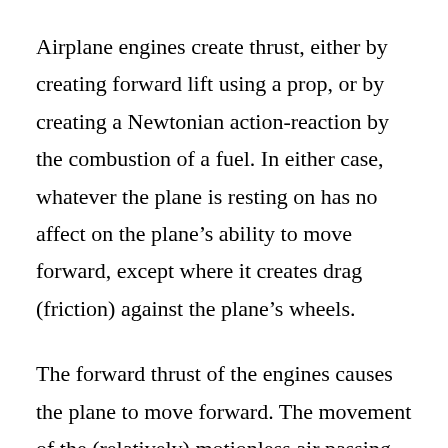Airplane engines create thrust, either by creating forward lift using a prop, or by creating a Newtonian action-reaction by the combustion of a fuel. In either case, whatever the plane is resting on has no affect on the plane's ability to move forward, except where it creates drag (friction) against the plane's wheels.
The forward thrust of the engines causes the plane to move forward. The movement of the (relatively) motionless air passing over the lifting surface of the wings creates lift. This works using Bernoulli's principal. Again, whatever the plane is resting on